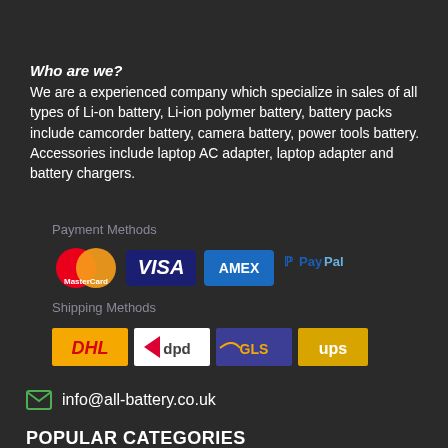Who are we?
We are a experienced company which specialize in sales of all types of Li-on battery, Li-ion polymer battery, battery packs include camcorder battery, camera battery, power tools battery. Accessories include laptop AC adapter, laptop adapter and battery chargers.
Payment Methods
[Figure (logo): Payment method logos: MasterCard, VISA, AMEX, PayPal]
Shipping Methods
[Figure (logo): Shipping method logos: DHL, dpd, GLS, UPS]
info@all-battery.co.uk
POPULAR CATEGORIES